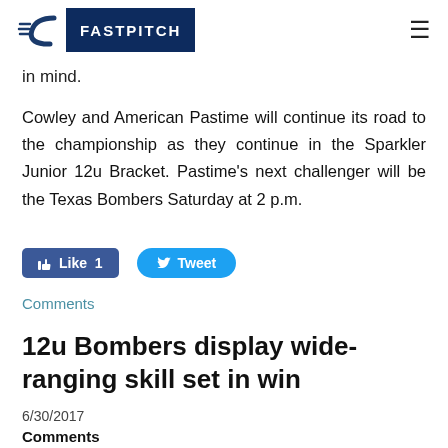FASTPITCH
in mind.
Cowley and American Pastime will continue its road to the championship as they continue in the Sparkler Junior 12u Bracket. Pastime's next challenger will be the Texas Bombers Saturday at 2 p.m.
[Figure (screenshot): Social media buttons: Facebook Like (1) and Twitter Tweet]
Comments
12u Bombers display wide-ranging skill set in win
6/30/2017
Comments